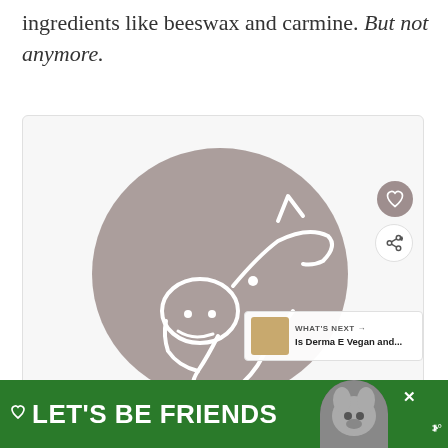ingredients like beeswax and carmine. But not anymore.
[Figure (illustration): A circular grey/taupe brushstroke circle containing a white line-art illustration of a pig's face in profile, shown inside an image card with a heart (favorite) button and a share button on the right side, and a 'What's Next' panel showing 'Is Derma E Vegan and...' with a thumbnail.]
[Figure (infographic): A green advertisement banner at the bottom reading 'LET'S BE FRIENDS' with a heart icon on the left and a dog illustration on the right, with a close (X) button and a speaker/volume icon.]